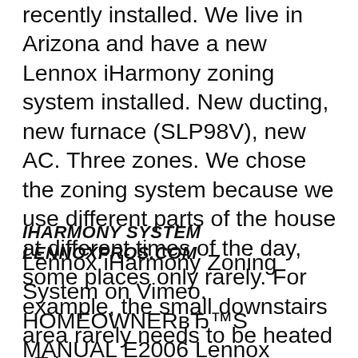recently installed. We live in Arizona and have a new Lennox iHarmony zoning system installed. New ducting, new furnace (SLP98V), new AC. Three zones. We chose the zoning system because we use different parts of the house at different times of the day, some places only rarely. For example, the small downstairs area rarely needs to be heated вЂ¦
IHARMONY SYSTEM LENNOXPROS.COM
Lennox iHarmony Zoning System on Vimeo. HOMEOWNERвЂ™S MANUAL E2006 Lennox Industries Inc. Dallas, Texas, USA Harmony IIIt Zone Control System CONTROLS 505,024M Litho U.S.A. 05/06 Supersedes 01/06 IMPORTANT: Read this instruction manual completely! Retain for future reference.